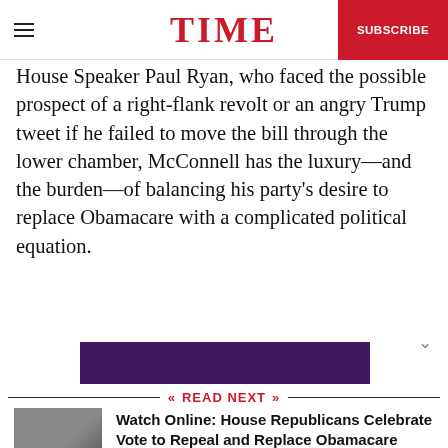TIME
House Speaker Paul Ryan, who faced the possible prospect of a right-flank revolt or an angry Trump tweet if he failed to move the bill through the lower chamber, McConnell has the luxury—and the burden—of balancing his party's desire to replace Obamacare with a complicated political equation.
[Figure (other): Purple advertisement banner]
READ NEXT
[Figure (photo): Thumbnail photo of House Republicans]
Watch Online: House Republicans Celebrate Vote to Repeal and Replace Obamacare